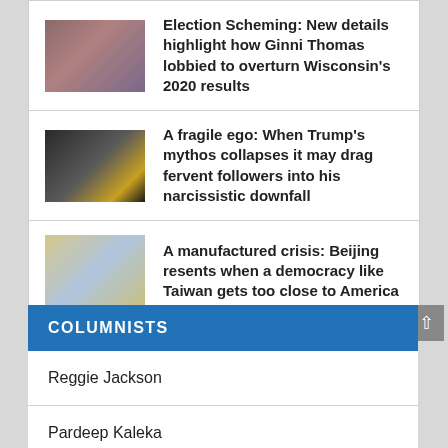[Figure (photo): Thumbnail photo of people at a political event]
Election Scheming: New details highlight how Ginni Thomas lobbied to overturn Wisconsin’s 2020 results
[Figure (photo): Thumbnail photo of a golden statue figure against a chalkboard background]
A fragile ego: When Trump’s mythos collapses it may drag fervent followers into his narcissistic downfall
[Figure (photo): Thumbnail photo of a map with Taiwan flag pin]
A manufactured crisis: Beijing resents when a democracy like Taiwan gets too close to America
COLUMNISTS
Reggie Jackson
Pardeep Kaleka